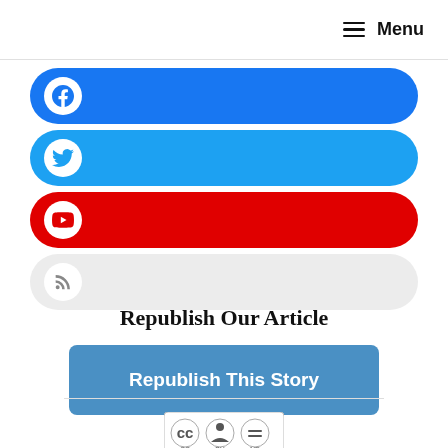☰ Menu
[Figure (infographic): Social media follow buttons: Facebook (blue pill), Twitter (light blue pill), YouTube (red pill), RSS (light gray pill)]
Republish Our Article
[Figure (infographic): Blue rounded button labeled 'Republish This Story']
[Figure (logo): Creative Commons BY-ND license badge]